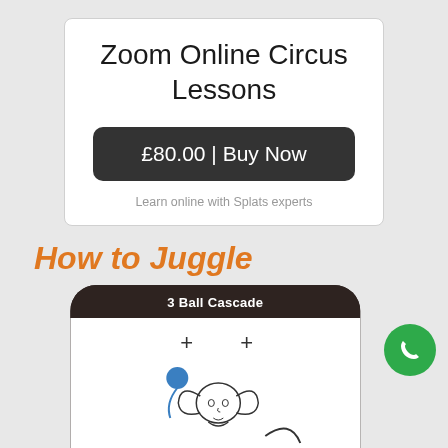Zoom Online Circus Lessons
£80.00 | Buy Now
Learn online with Splats experts
How to Juggle
[Figure (screenshot): Mobile device frame showing '3 Ball Cascade' juggling tutorial with illustration of a girl juggling, blue ball, plus signs above head]